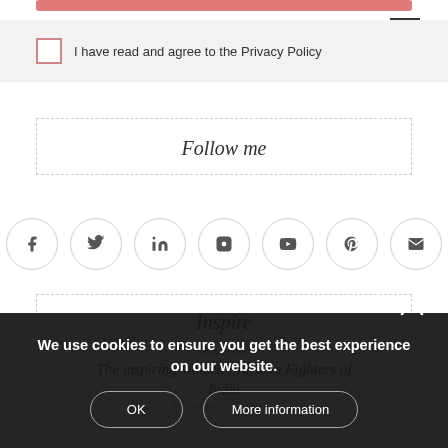[Figure (other): Pink/salmon colored horizontal bar at top]
[Figure (other): Hamburger menu icon top right]
I have read and agree to the Privacy Policy
Follow me
[Figure (other): Social media icons row: Facebook, Twitter, LinkedIn, Instagram, YouTube, Pinterest, Email]
Inspire
INSPIRE
The inspiring Women Freedom Fighters of India
BY KEW... PATRI...
We use cookies to ensure you get the best experience on our website.
OK
More information